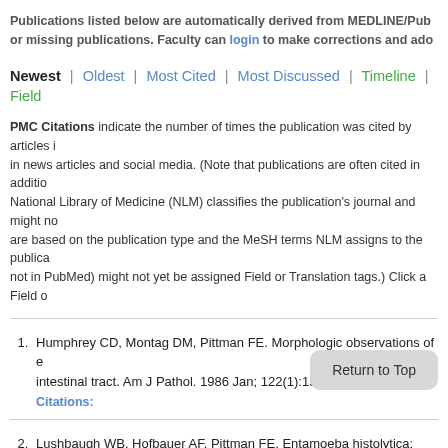Publications listed below are automatically derived from MEDLINE/Pub or missing publications. Faculty can login to make corrections and ado
Newest | Oldest | Most Cited | Most Discussed | Timeline | Field
PMC Citations indicate the number of times the publication was cited by articles in in news articles and social media. (Note that publications are often cited in additio National Library of Medicine (NLM) classifies the publication's journal and might no are based on the publication type and the MeSH terms NLM assigns to the publica not in PubMed) might not yet be assigned Field or Translation tags.) Click a Field o
Humphrey CD, Montag DM, Pittman FE. Morphologic observations of e intestinal tract. Am J Pathol. 1986 Jan; 122(1):152-9. PMID: 3942198.
Citations:
Lushbaugh WB, Hofbauer AF, Pittman FE. Entamoeba histolytica: puri 59(3):328-36. PMID: 2860002.
Citations:
Humphrey CD, Montag DM, Pittman FE. Experimental infection of ham 151(3):485-93. PMID: 4038721.
Citations: